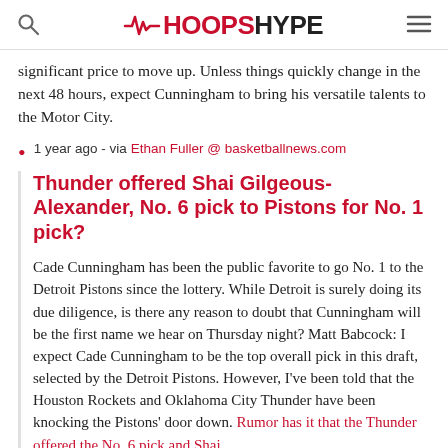HoopsHype
significant price to move up. Unless things quickly change in the next 48 hours, expect Cunningham to bring his versatile talents to the Motor City.
1 year ago - via Ethan Fuller @ basketballnews.com
Thunder offered Shai Gilgeous-Alexander, No. 6 pick to Pistons for No. 1 pick?
Cade Cunningham has been the public favorite to go No. 1 to the Detroit Pistons since the lottery. While Detroit is surely doing its due diligence, is there any reason to doubt that Cunningham will be the first name we hear on Thursday night? Matt Babcock: I expect Cade Cunningham to be the top overall pick in this draft, selected by the Detroit Pistons. However, I've been told that the Houston Rockets and Oklahoma City Thunder have been knocking the Pistons' door down. Rumor has it that the Thunder offered the No. 6 pick and Shai